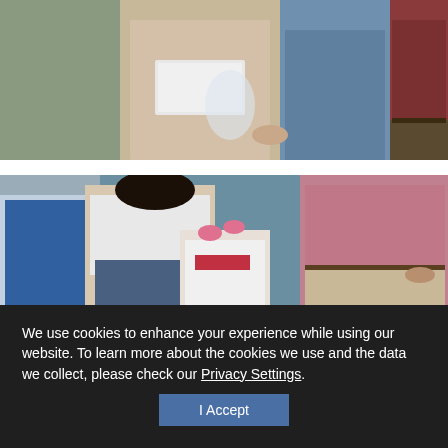[Figure (photo): People exchanging items outdoors; one person handing a box/package to another, partial torsos visible, outdoor background]
[Figure (photo): A woman leaning over a young girl with pink hair bows, a man in a red shirt standing nearby, outdoor scene]
We use cookies to enhance your experience while using our website. To learn more about the cookies we use and the data we collect, please check our Privacy Settings.
I Accept